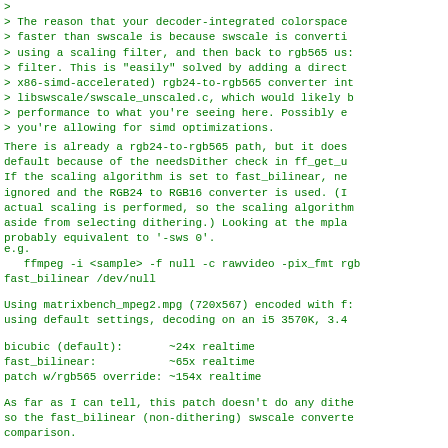> 
> The reason that your decoder-integrated colorspace
> faster than swscale is because swscale is converti
> using a scaling filter, and then back to rgb565 us:
> filter. This is "easily" solved by adding a direct
> x86-simd-accelerated) rgb24-to-rgb565 converter int
> libswscale/swscale_unscaled.c, which would likely b
> performance to what you're seeing here. Possibly e
> you're allowing for simd optimizations.
There is already a rgb24-to-rgb565 path, but it does
default because of the needsDither check in ff_get_u
If the scaling algorithm is set to fast_bilinear, ne
ignored and the RGB24 to RGB16 converter is used. (I
actual scaling is performed, so the scaling algorithm
aside from selecting dithering.) Looking at the mpla
probably equivalent to '-sws 0'.
e.g.
   ffmpeg -i <sample> -f null -c rawvideo -pix_fmt rgb
fast_bilinear /dev/null
Using matrixbench_mpeg2.mpg (720x567) encoded with f:
using default settings, decoding on an i5 3570K, 3.4
bicubic (default):       ~24x realtime
fast_bilinear:           ~65x realtime
patch w/rgb565 override: ~154x realtime
As far as I can tell, this patch doesn't do any dithe
so the fast_bilinear (non-dithering) swscale converte
comparison.